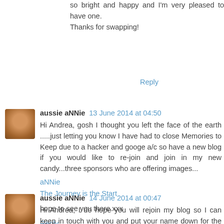so bright and happy and I'm very pleased to have one. Thanks for swapping!
Reply
aussie aNNie  13 June 2014 at 04:50
Hi Andrea, gosh I thought you left the face of the earth .....just letting you know I have had to close Memories to Keep due to a hacker and googe a/c so have a new blog if you would like to re-join and join in my new candy...three sponsors who are offering images...
aNNie
The Journey is the Start

hope to see you there.xxx
Reply
aussie aNNie  14 June 2014 at 00:47
Hi Andrea, I do hope you will rejoin my blog so I can keep in touch with you and put your name down for the chance